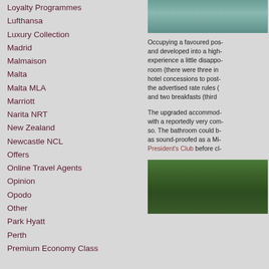Loyalty Programmes
Lufthansa
Luxury Collection
Madrid
Malmaison
Malta
Malta MLA
Marriott
Narita NRT
New Zealand
Newcastle NCL
Offers
Online Travel Agents
Opinion
Opodo
Other
Park Hyatt
Perth
Premium Economy Class
[Figure (photo): Top photo showing water/lake with green tones, partially visible]
Occupying a favoured pos- and developed into a high- experience a little disappo- room (there were three in hotel concessions to post- the advertised rate rules ( and two breakfasts (third
The upgraded accommod- with a reportedly very com- so. The bathroom could b- as sound-proofed as a Mi- President's Club before cl-
[Figure (photo): Bottom photo showing dense green forest/trees]